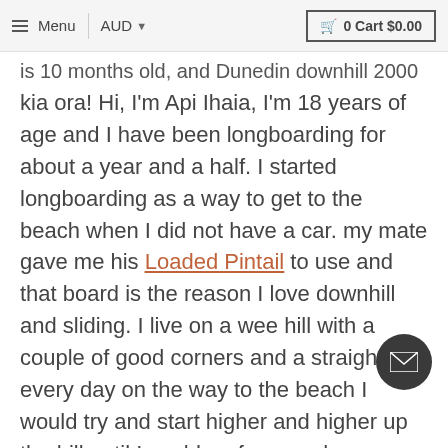Menu  AUD  0 Cart $0.00
is 10 months old, and Dunedin downhill 2000
kia ora! Hi, I'm Api Ihaia, I'm 18 years of age and I have been longboarding for about a year and a half. I started longboarding as a way to get to the beach when I did not have a car. my mate gave me his Loaded Pintail to use and that board is the reason I love downhill and sliding. I live on a wee hill with a couple of good corners and a straight so every day on the way to the beach I would try and start higher and higher up the hill until I could go from my house. Skating this hill most days opened up my eyes to other hills around Dunedin. I started taking this board where and hitting bigger hills and going fast and I was clearly hooked at this point. Another mate